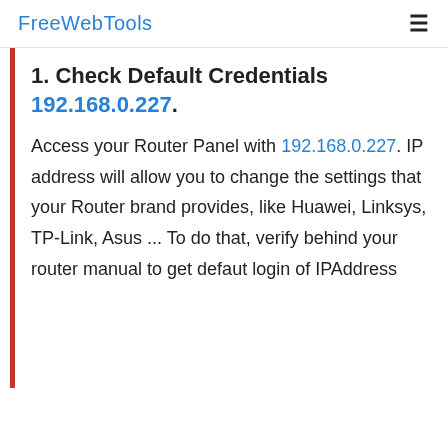FreeWebTools
1. Check Default Credentials 192.168.0.227.
Access your Router Panel with 192.168.0.227. IP address will allow you to change the settings that your Router brand provides, like Huawei, Linksys, TP-Link, Asus ... To do that, verify behind your router manual to get defaut login of IPAddress